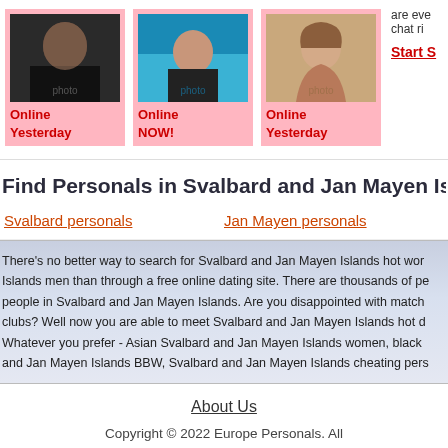[Figure (photo): Profile photo of a man with tattoos, dark background]
[Figure (photo): Profile photo of a woman by a pool in a black swimsuit]
[Figure (photo): Profile photo of a woman with long wavy hair]
Online Yesterday
Online NOW!
Online Yesterday
are eve chat ri
Start S
Find Personals in Svalbard and Jan Mayen Islands
Svalbard personals
Jan Mayen personals
There's no better way to search for Svalbard and Jan Mayen Islands hot wor Islands men than through a free online dating site. There are thousands of pe people in Svalbard and Jan Mayen Islands. Are you disappointed with match clubs? Well now you are able to meet Svalbard and Jan Mayen Islands hot d Whatever you prefer - Asian Svalbard and Jan Mayen Islands women, black and Jan Mayen Islands BBW, Svalbard and Jan Mayen Islands cheating pers
About Us
Copyright © 2022 Europe Personals. All